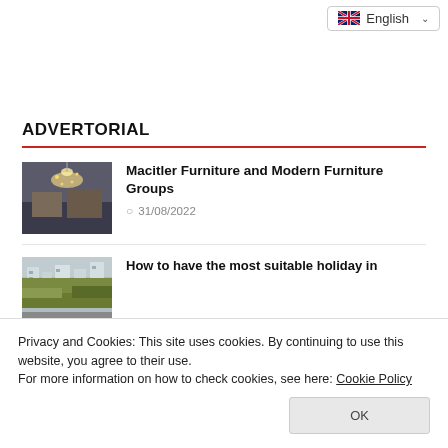English (language selector)
ADVERTORIAL
[Figure (photo): Interior room with modern furniture and decorative chandelier lighting]
Macitler Furniture and Modern Furniture Groups
31/08/2022
[Figure (photo): Aerial or architectural view of a building or resort]
How to have the most suitable holiday in
[Figure (photo): Nature or landscape photo (partially visible at bottom)]
Privacy and Cookies: This site uses cookies. By continuing to use this website, you agree to their use.
For more information on how to check cookies, see here: Cookie Policy